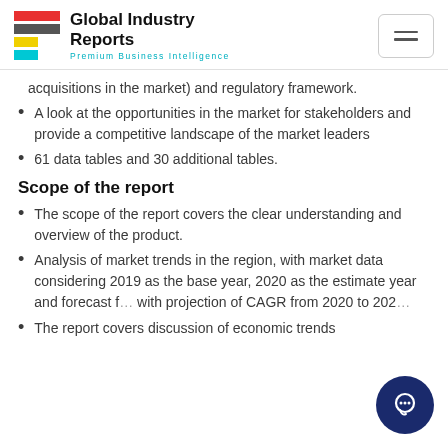Global Industry Reports — Premium Business Intelligence
acquisitions in the market) and regulatory framework.
A look at the opportunities in the market for stakeholders and provide a competitive landscape of the market leaders
61 data tables and 30 additional tables.
Scope of the report
The scope of the report covers the clear understanding and overview of the product.
Analysis of market trends in the region, with market data considering 2019 as the base year, 2020 as the estimate year and forecast f… with projection of CAGR from 2020 to 202…
The report covers discussion of economic trends